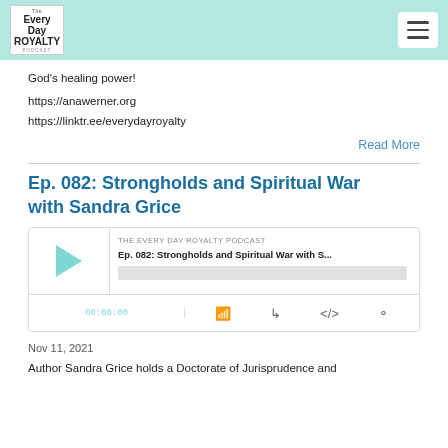The Every Day Royalty Podcast
God's healing power!
https://anawerner.org
https://linktr.ee/everydayroyalty
Read More
Ep. 082: Strongholds and Spiritual War with Sandra Grice
[Figure (screenshot): Podcast player widget for 'Ep. 082: Strongholds and Spiritual War with S...' from The Every Day Royalty Podcast, showing play button, progress bar, time display (00:00:00), and control icons.]
Nov 11, 2021
Author Sandra Grice holds a Doctorate of Jurisprudence and